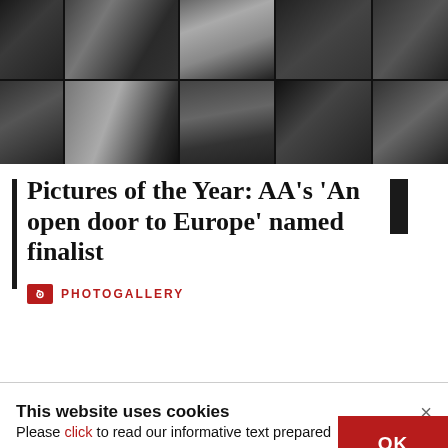[Figure (photo): Two rows of black and white photojournalism images showing refugees or migrants at European borders — people in fields, smoke, figures in dark environments, fences.]
Pictures of the Year: AA's 'An open door to Europe' named finalist
PHOTOGALLERY
This website uses cookies
Please click to read our informative text prepared pursuant to the Law on the Protection of Personal Data No. 6698 and to get information about the cookies used on our